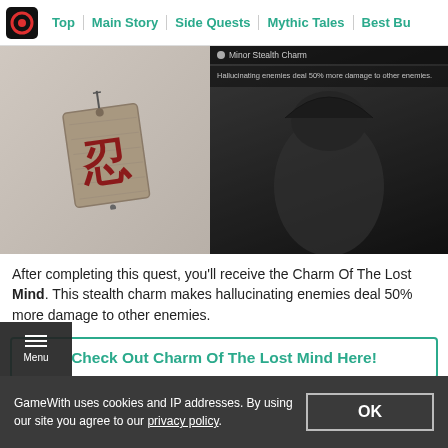Top | Main Story | Side Quests | Mythic Tales | Best Bu...
[Figure (screenshot): Game screenshot showing a wooden charm tag with Japanese kanji and a samurai character in armor, with UI overlay showing 'Minor Stealth Charm' item and description: Hallucinating enemies deal 50% more damage to other enemies.]
After completing this quest, you'll receive the Charm Of The Lost Mind. This stealth charm makes hallucinating enemies deal 50% more damage to other enemies.
Check Out Charm Of The Lost Mind Here!
GameWith uses cookies and IP addresses. By using our site you agree to our privacy policy.